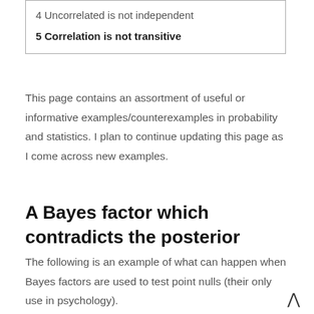4 Uncorrelated is not independent
5 Correlation is not transitive
This page contains an assortment of useful or informative examples/counterexamples in probability and statistics. I plan to continue updating this page as I come across new examples.
A Bayes factor which contradicts the posterior
The following is an example of what can happen when Bayes factors are used to test point nulls (their only use in psychology).
Courtesy of Stone (1997), consider a binomial experiment, trying n = 5 17 = 125 trials with